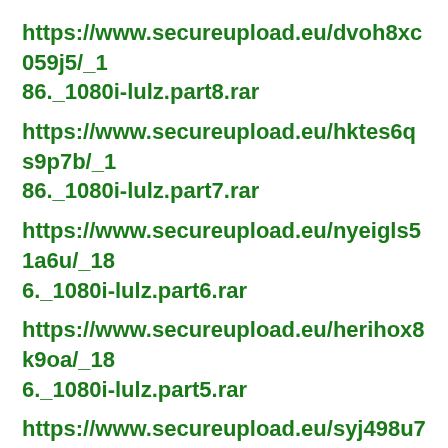https://www.secureupload.eu/dvoh8xc059j5/_186._1080i-lulz.part8.rar
https://www.secureupload.eu/hktes6qs9p7b/_186._1080i-lulz.part7.rar
https://www.secureupload.eu/nyeigls51a6u/_186._1080i-lulz.part6.rar
https://www.secureupload.eu/herihox8k9oa/_186._1080i-lulz.part5.rar
https://www.secureupload.eu/syj498u7xsh3/_186._1080i-lulz.part4.rar
https://www.secureupload.eu/ay7puphu9ecc/_186._1080i-lulz.part3.rar
https://www.secureupload.eu/94yqtkr5okj1/_18